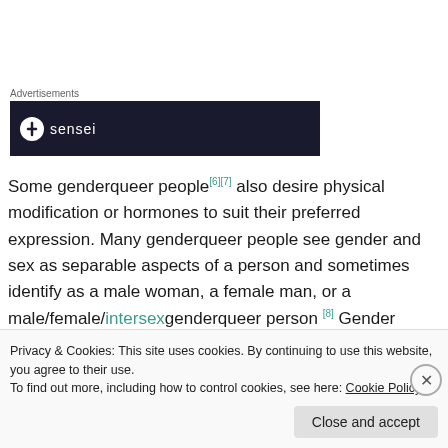Advertisements
[Figure (other): Dark advertisement banner with sensei logo]
Some genderqueer people[6][7] also desire physical modification or hormones to suit their preferred expression. Many genderqueer people see gender and sex as separable aspects of a person and sometimes identify as a male woman, a female man, or a male/female/intersex genderqueer person [8] Gender
Privacy & Cookies: This site uses cookies. By continuing to use this website, you agree to their use.
To find out more, including how to control cookies, see here: Cookie Policy
Close and accept